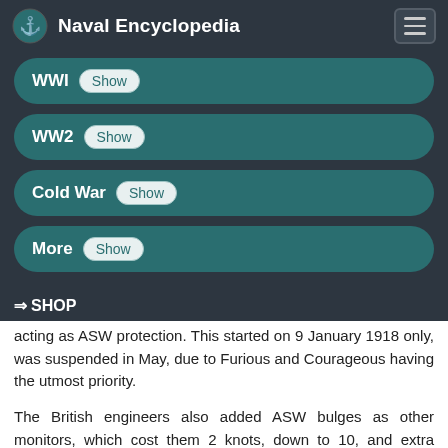Naval Encyclopedia
WWI Show
WW2 Show
Cold War Show
More Show
⇒ SHOP
acting as ASW protection. This started on 9 January 1918 only, was suspended in May, due to Furious and Courageous having the utmost priority.
The British engineers also added ASW bulges as other monitors, which cost them 2 knots, down to 10, and extra displacement. In all, they carried 364 long tons (370 t) of coal, 171 long tons (174 t) of fuel oil for 2,700 nautical miles (5,000 km; 3,100 mi) at 11 knots, better than the previous vessels. All guns had to be relined to accept British ammunition, and the main guns had to be the B...